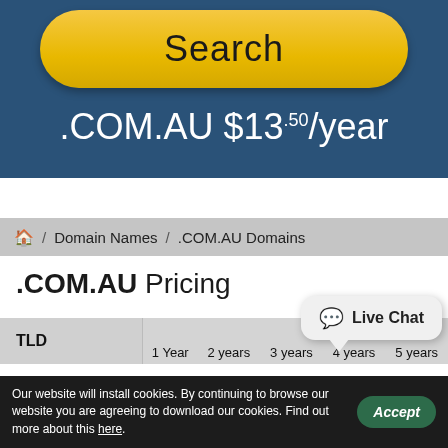[Figure (screenshot): Yellow Search button with rounded corners on dark blue background]
.COM.AU $13.50/year
Home / Domain Names / .COM.AU Domains
.COM.AU Pricing
| TLD | 1 Year | 2 years | 3 years | 4 years | 5 years |
| --- | --- | --- | --- | --- | --- |
Our website will install cookies. By continuing to browse our website you are agreeing to download our cookies. Find out more about this here.